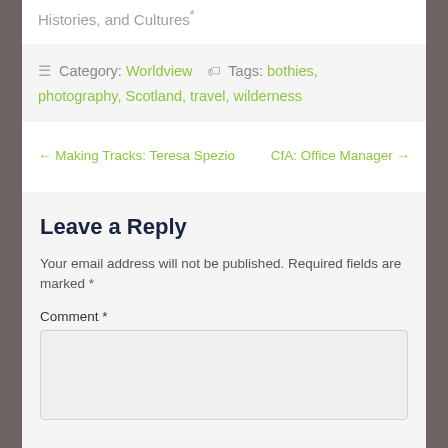Histories, and Cultures*
≡ Category: Worldview 🏷 Tags: bothies, photography, Scotland, travel, wilderness
← Making Tracks: Teresa Spezio   CfA: Office Manager →
Leave a Reply
Your email address will not be published. Required fields are marked *
Comment *